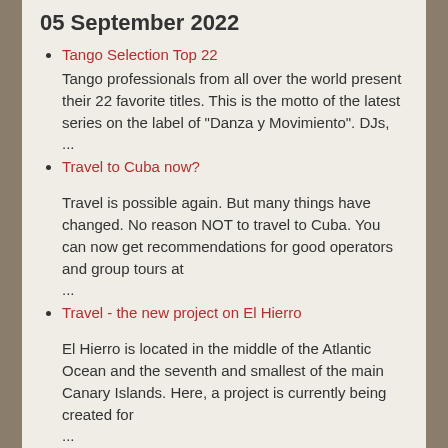05 September 2022
Tango Selection Top 22
Tango professionals from all over the world present their 22 favorite titles. This is the motto of the latest series on the label of "Danza y Movimiento". DJs,
...
Travel to Cuba now?
Travel is possible again. But many things have changed. No reason NOT to travel to Cuba. You can now get recommendations for good operators and group tours at
...
Travel - the new project on El Hierro
El Hierro is located in the middle of the Atlantic Ocean and the seventh and smallest of the main Canary Islands. Here, a project is currently being created for
...